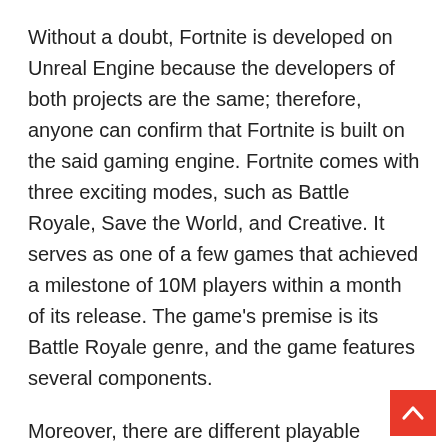Without a doubt, Fortnite is developed on Unreal Engine because the developers of both projects are the same; therefore, anyone can confirm that Fortnite is built on the said gaming engine. Fortnite comes with three exciting modes, such as Battle Royale, Save the World, and Creative. It serves as one of a few games that achieved a milestone of 10M players within a month of its release. The game's premise is its Battle Royale genre, and the game features several components.
Moreover, there are different playable characters available; each one has unique abilities and skills that give you outstanding powers and abilities. Nowadays, starting playing Fortnite is quite challenging for newbies because they can experience the proper gameplay because of hardcore players who kill them within no time. Therefore, most players are always searching to buy cheap Fortnite Account with